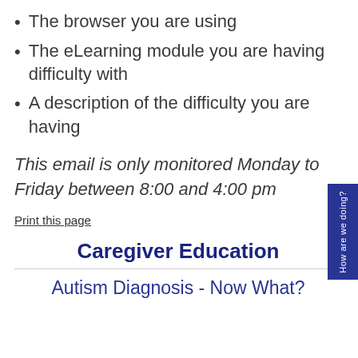The browser you are using
The eLearning module you are having difficulty with
A description of the difficulty you are having
This email is only monitored Monday to Friday between 8:00 and 4:00 pm
Print this page
Caregiver Education
Autism Diagnosis - Now What?